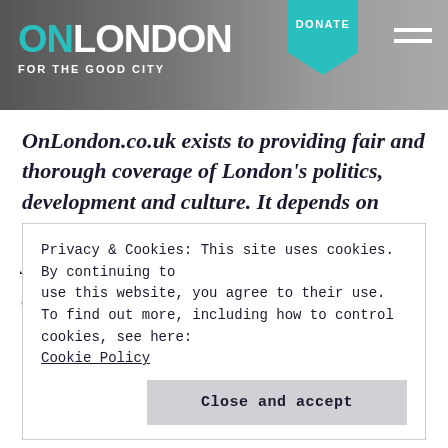ONLONDON FOR THE GOOD CITY | DONATE
OnLondon.co.uk exists to providing fair and thorough coverage of London's politics, development and culture. It depends on donations, including from readers. Could you spare £5 a month to held the site keep going and growing? If so, follow this link. Thank you.
Privacy & Cookies: This site uses cookies. By continuing to use this website, you agree to their use.
To find out more, including how to control cookies, see here:
Cookie Policy
Close and accept